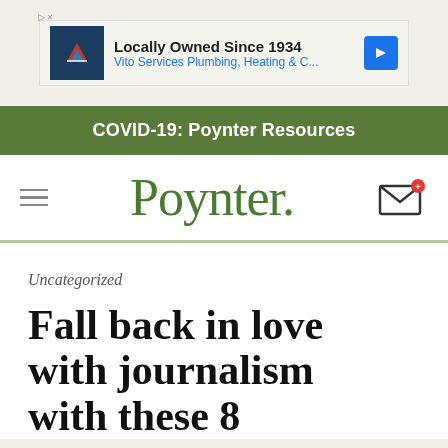[Figure (other): Advertisement banner: Vito Services Plumbing, Heating & C... - Locally Owned Since 1934]
COVID-19: Poynter Resources
Poynter.
Uncategorized
Fall back in love with journalism with these 8